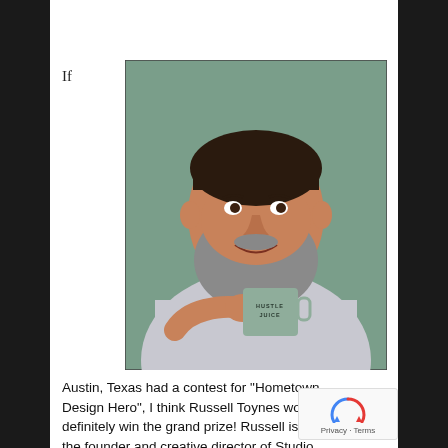If
[Figure (photo): A smiling bearded man holding a sage green mug that reads 'HUSTLE JUICE', photographed against a muted green background, wearing a light grey button-up shirt.]
Austin, Texas had a contest for “Hometown Design Hero”, I think Russell Toynes would definitely win the grand prize! Russell is the founder and creative director of Studio R...